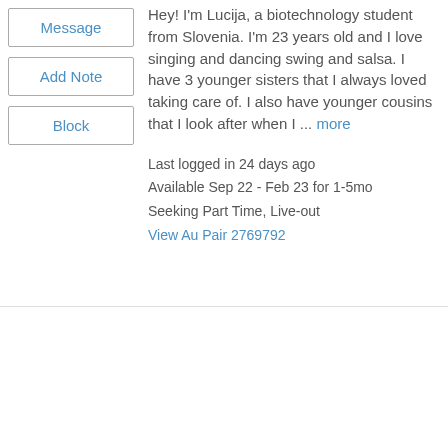Hey! I'm Lucija, a biotechnology student from Slovenia. I'm 23 years old and I love singing and dancing swing and salsa. I have 3 younger sisters that I always loved taking care of. I also have younger cousins that I look after when I ... more
Last logged in 24 days ago
Available Sep 22 - Feb 23 for 1-5mo
Seeking Part Time, Live-out
View Au Pair 2769792
[Figure (illustration): Photo not available placeholder with butterfly watermark]
Liza L. An outgoing and kind girl looking to help out :)
Poljana, Slovenia
18 years old
Negotiable
No experience